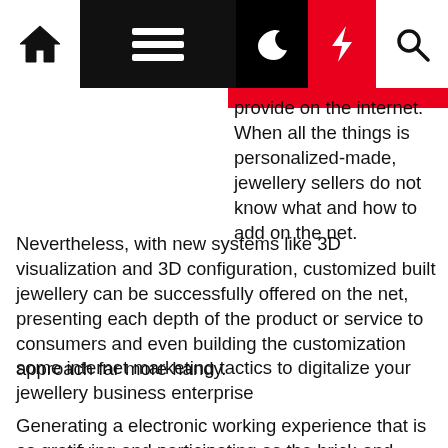Navigation bar with home icon, menu icon, moon icon, lightning bolt icon, search icon
provide on the internet. When all the things is personalized-made, jewellery sellers do not know what and how to add on the net.
Nevertheless, with new systems like 3D visualization and 3D configuration, customized built jewellery can be successfully offered on the net, presenting each depth of the product or service to consumers and even building the customization approach far more handy.
some internet marketing tactics to digitalize your jewellery business enterprise
Generating a electronic working experience that is as gratifying and participating as the brick-and-mortar keep does may possibly be less difficult than it